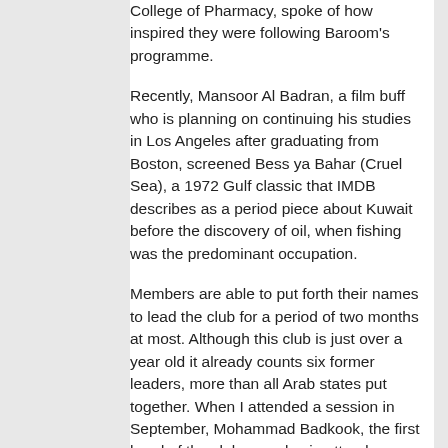College of Pharmacy, spoke of how inspired they were following Baroom's programme.
Recently, Mansoor Al Badran, a film buff who is planning on continuing his studies in Los Angeles after graduating from Boston, screened Bess ya Bahar (Cruel Sea), a 1972 Gulf classic that IMDB describes as a period piece about Kuwait before the discovery of oil, when fishing was the predominant occupation.
Members are able to put forth their names to lead the club for a period of two months at most. Although this club is just over a year old it already counts six former leaders, more than all Arab states put together. When I attended a session in September, Mohammad Badkook, the first head of the club was also in attendance. He told me of how he approached students to introduce them to the idea and of holding the first meeting in the lobby of a hotel.
Today, the students are seeking to register the Khaleeji Club in various colleges in order to use